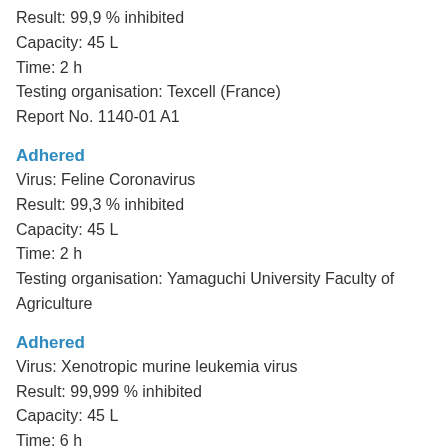Result: 99,9 % inhibited
Capacity: 45 L
Time: 2 h
Testing organisation: Texcell (France)
Report No. 1140-01 A1
Adhered
Virus: Feline Coronavirus
Result: 99,3 % inhibited
Capacity: 45 L
Time: 2 h
Testing organisation: Yamaguchi University Faculty of Agriculture
Adhered
Virus: Xenotropic murine leukemia virus
Result: 99,999 % inhibited
Capacity: 45 L
Time: 6 h
Testing organisation: Charles River Biopharmaceutical